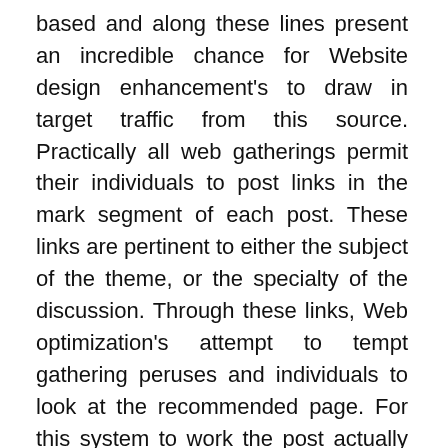based and along these lines present an incredible chance for Website design enhancement's to draw in target traffic from this source. Practically all web gatherings permit their individuals to post links in the mark segment of each post. These links are pertinent to either the subject of the theme, or the specialty of the discussion. Through these links, Web optimization's attempt to tempt gathering peruses and individuals to look at the recommended page. For this system to work the post actually should be fascinating or you have a decent following on the gathering so individuals will be effectively disposed to tap on the link that you have alluded. To do it all the more actually, master discussion link building services utilize essayists that are great in conversing with individuals and have an inherent capacity to draw in crowd on an